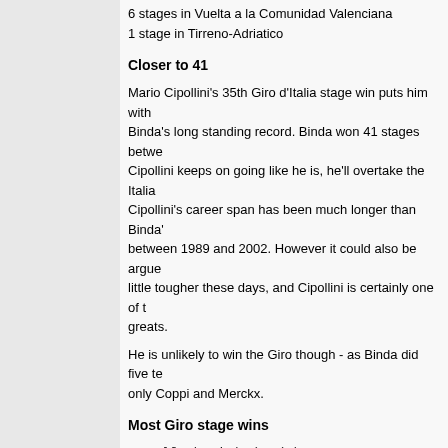6 stages in Vuelta a la Comunidad Valenciana
1 stage in Tirreno-Adriatico
Closer to 41
Mario Cipollini's 35th Giro d'Italia stage win puts him with Binda's long standing record. Binda won 41 stages between... Cipollini keeps on going like he is, he'll overtake the Italia... Cipollini's career span has been much longer than Binda's between 1989 and 2002. However it could also be argue... little tougher these days, and Cipollini is certainly one of t... greats.
He is unlikely to win the Giro though - as Binda did five te... only Coppi and Merckx.
Most Giro stage wins
41:  Alfredo Binda (Ita) between 1926 a
35:  Mario Cipollini (Ita) between 1989
31:  Learco Guerra (Ita) between 1930 a
30:  Costante Girardengo (Ita) between
25:  Eddy Merckx (Bel) between 1967 anc
24:  Giuseppe Saronni (Ita) between 197
23:  Francesco Moser (Ita) between 1973
22:  Fausto Coppi (Ita) between 1940 ar
22:  Roger De Vlaeminck (Bel) between 1
21:  Franco Bitossi (Ita) between 1964
Lombardi relegated and fined